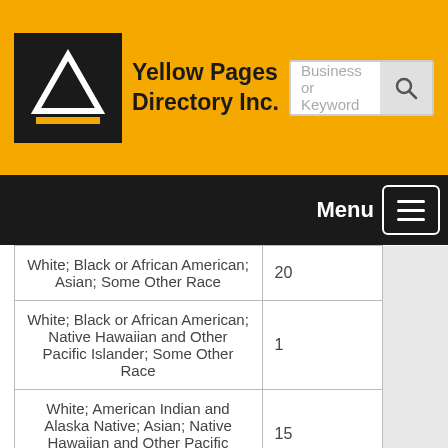Yellow Pages Directory Inc.
| Category | Value |
| --- | --- |
| White; Black or African American; Asian; Some Other Race | 20 |
| White; Black or African American; Native Hawaiian and Other Pacific Islander; Some Other Race | 1 |
| White; American Indian and Alaska Native; Asian; Native Hawaiian and Other Pacific Islander | 15 |
| White; American Indian and Alaska Native; Asian; Some Other Race | 18 |
| White; American Indian and... |  |